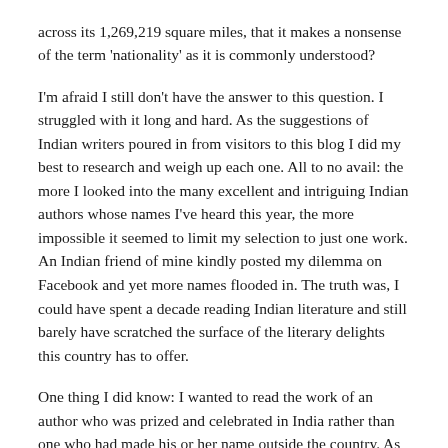across its 1,269,219 square miles, that it makes a nonsense of the term 'nationality' as it is commonly understood?
I'm afraid I still don't have the answer to this question. I struggled with it long and hard. As the suggestions of Indian writers poured in from visitors to this blog I did my best to research and weigh up each one. All to no avail: the more I looked into the many excellent and intriguing Indian authors whose names I've heard this year, the more impossible it seemed to limit my selection to just one work. An Indian friend of mine kindly posted my dilemma on Facebook and yet more names flooded in. The truth was, I could have spent a decade reading Indian literature and still barely have scratched the surface of the literary delights this country has to offer.
One thing I did know: I wanted to read the work of an author who was prized and celebrated in India rather than one who had made his or her name outside the country. As Tim who recommended Kushwant Singh just this week put it, 'rather a lot of the "Indian" writers beloved of the international literati seem to live in London or New York'. Talented though many of these authors are, they didn't chime in with what I was looking for; I wanted to read the work of someone who wrote primarily